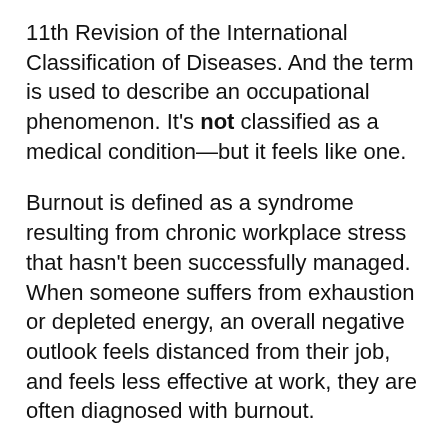11th Revision of the International Classification of Diseases. And the term is used to describe an occupational phenomenon. It's not classified as a medical condition—but it feels like one.
Burnout is defined as a syndrome resulting from chronic workplace stress that hasn't been successfully managed. When someone suffers from exhaustion or depleted energy, an overall negative outlook feels distanced from their job, and feels less effective at work, they are often diagnosed with burnout.
We talk about burnout with Natasha Dewhirst in this episode. You'll learn why it's so common, who's at more risk, and how to